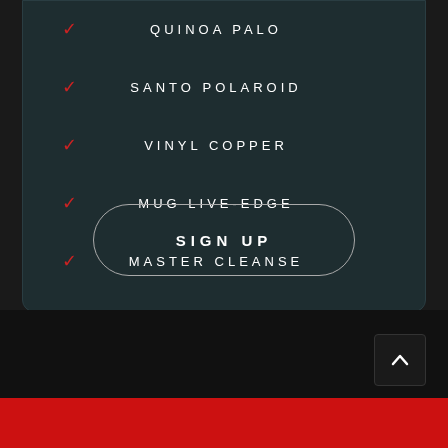QUINOA PALO
SANTO POLAROID
VINYL COPPER
MUG LIVE-EDGE
MASTER CLEANSE
SIGN UP
STANDARD PLAN